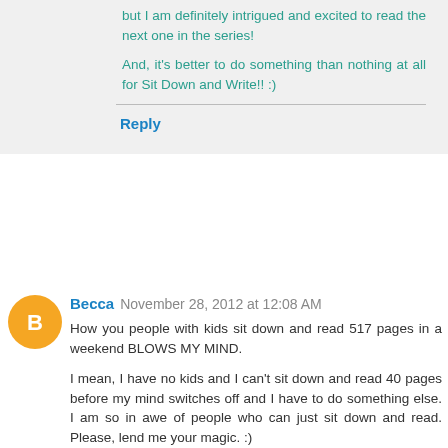but I am definitely intrigued and excited to read the next one in the series!
And, it's better to do something than nothing at all for Sit Down and Write!! :)
Reply
Becca  November 28, 2012 at 12:08 AM
How you people with kids sit down and read 517 pages in a weekend BLOWS MY MIND.
I mean, I have no kids and I can't sit down and read 40 pages before my mind switches off and I have to do something else. I am so in awe of people who can just sit down and read. Please, lend me your magic. :)
My upcoming goals for 2013 are as follows: 1) keep up with my blog, 2) keep writing my book, 3) read as much as I can, 4) love my friends, family, and my man, and 5) live in the moment as much as possible but to enjoy it